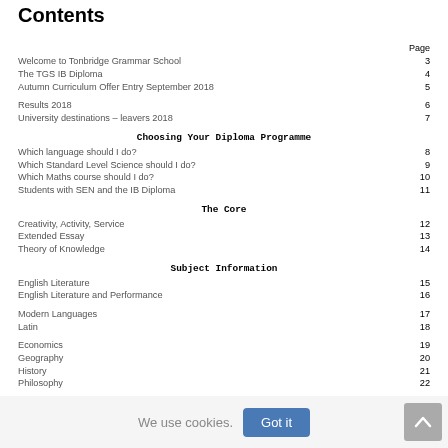Contents
| Topic | Page |
| --- | --- |
| Welcome to Tonbridge Grammar School | 3 |
| The TGS IB Diploma | 4 |
| Autumn Curriculum Offer Entry September 2018 | 5 |
| Results 2018 | 6 |
| University destinations – leavers 2018 | 7 |
| Choosing Your Diploma Programme |  |
| Which language should I do? | 8 |
| Which Standard Level Science should I do? | 9 |
| Which Maths course should I do? | 10 |
| Students with SEN and the IB Diploma | 11 |
| The Core |  |
| Creativity, Activity, Service | 12 |
| Extended Essay | 13 |
| Theory of Knowledge | 14 |
| Subject Information |  |
| English Literature | 15 |
| English Literature and Performance | 16 |
| Modern Languages | 17 |
| Latin | 18 |
| Economics | 19 |
| Geography | 20 |
| History | 21 |
| Philosophy | 22 |
| Psychology | 23 |
| Biology | 23 |
| Chemistry | 25 |
| Computer Science | 26 |
| Design Technology | 27 |
| Environmental Systems and Society | 28 |